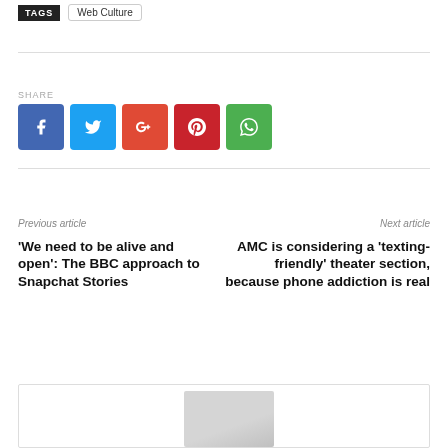TAGS  Web Culture
[Figure (infographic): Social sharing buttons: Facebook (blue), Twitter (light blue), Google+ (red-orange), Pinterest (dark red), WhatsApp (green)]
Previous article
'We need to be alive and open': The BBC approach to Snapchat Stories
Next article
AMC is considering a 'texting-friendly' theater section, because phone addiction is real
[Figure (photo): Author photo thumbnail, partially visible at bottom of page]